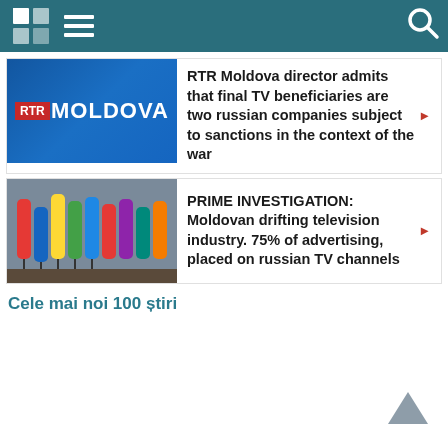Navigation bar with logo and search icon
[Figure (screenshot): RTR Moldova logo on blue background]
RTR Moldova director admits that final TV beneficiaries are two russian companies subject to sanctions in the context of the war ▶
[Figure (photo): Multiple microphones on stands at a press conference]
PRIME INVESTIGATION: Moldovan drifting television industry. 75% of advertising, placed on russian TV channels ▶
Cele mai noi 100 știri